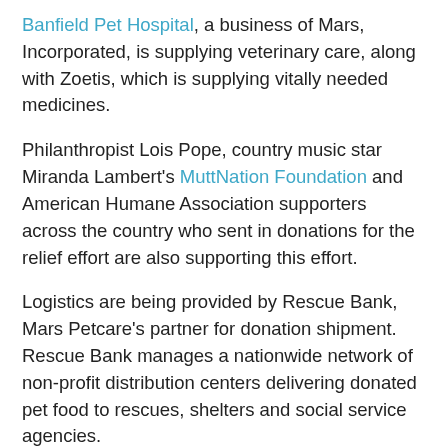Banfield Pet Hospital, a business of Mars, Incorporated, is supplying veterinary care, along with Zoetis, which is supplying vitally needed medicines.
Philanthropist Lois Pope, country music star Miranda Lambert's MuttNation Foundation and American Humane Association supporters across the country who sent in donations for the relief effort are also supporting this effort.
Logistics are being provided by Rescue Bank, Mars Petcare's partner for donation shipment. Rescue Bank manages a nationwide network of non-profit distribution centers delivering donated pet food to rescues, shelters and social service agencies.
Supported by Mars Petcare, the 82-foot-long Red Star Rescue Rig is fully equipped with a mobile operating theater, emergency rescue equipment, and accommodations for 12 volunteers.
The convoy also features the inaugural rescue mission of the 50-foot "Lois Pope LIFE Rescue Vehicle," carrying rescue